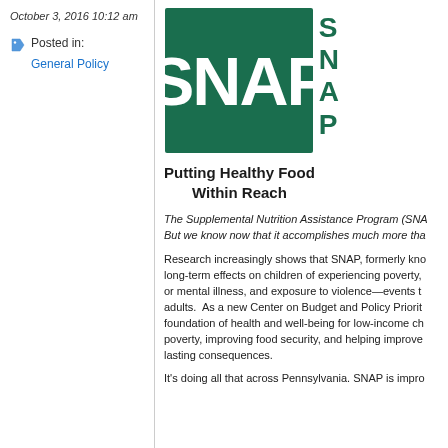October 3, 2016 10:12 am
Posted in:
General Policy
[Figure (logo): SNAP - Supplemental Nutrition Assistance Program logo with green square and tagline 'Putting Healthy Food Within Reach']
The Supplemental Nutrition Assistance Program (SNA... But we know now that it accomplishes much more tha...
Research increasingly shows that SNAP, formerly kno... long-term effects on children of experiencing poverty, or mental illness, and exposure to violence—events t... adults. As a new Center on Budget and Policy Priorit... foundation of health and well-being for low-income ch... poverty, improving food security, and helping improve... lasting consequences.
It's doing all that across Pennsylvania. SNAP is impro...